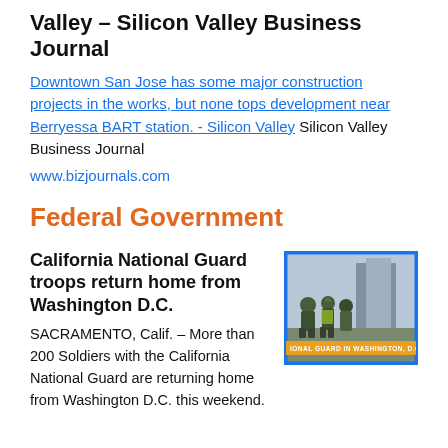Valley – Silicon Valley Business Journal
Downtown San Jose has some major construction projects in the works, but none tops development near Berryessa BART station. - Silicon Valley  Silicon Valley Business Journal
www.bizjournals.com
Federal Government
California National Guard troops return home from Washington D.C.
[Figure (photo): News video thumbnail showing National Guard soldiers in Washington D.C., with yellow banner text reading 'NATIONAL GUARD IN WASHINGTON, D.C.']
SACRAMENTO, Calif. – More than 200 Soldiers with the California National Guard are returning home from Washington D.C. this weekend.